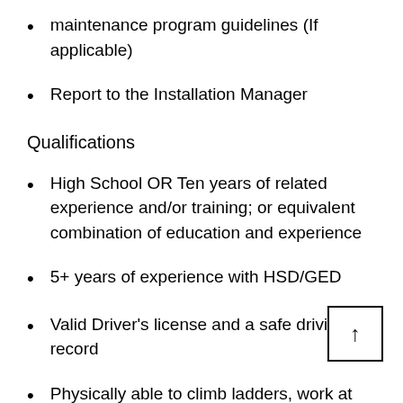maintenance program guidelines (If applicable)
Report to the Installation Manager
Qualifications
High School OR Ten years of related experience and/or training; or equivalent combination of education and experience
5+ years of experience with HSD/GED
Valid Driver's license and a safe driving record
Physically able to climb ladders, work at high